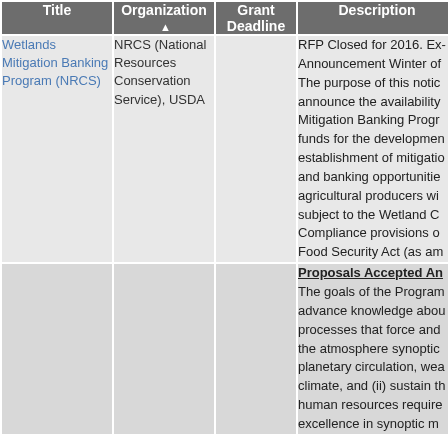| Title | Organization ▲ | Grant Deadline | Description |
| --- | --- | --- | --- |
| Wetlands Mitigation Banking Program (NRCS) | NRCS (National Resources Conservation Service), USDA |  | RFP Closed for 2016. Ex- Announcement Winter of The purpose of this notic announce the availability Mitigation Banking Progr funds for the developmen establishment of mitigatio and banking opportunitie agricultural producers wi subject to the Wetland C Compliance provisions o Food Security Act (as am |
|  |  |  | Proposals Accepted An The goals of the Program advance knowledge abou processes that force and the atmosphere synoptic planetary circulation, wea climate, and (ii) sustain th human resources require excellence in synoptic m |